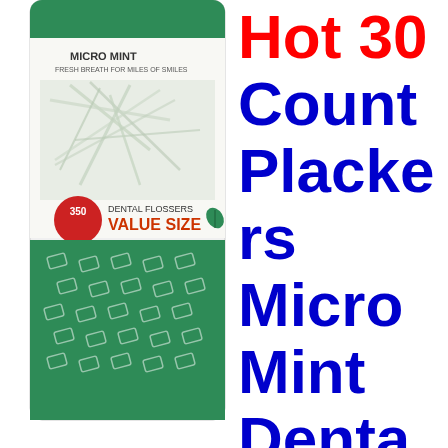[Figure (photo): A green and white bag of Plackers Micro Mint Dental Flossers, 350 count VALUE SIZE, showing the product packaging with dental flossers visible through the top portion and a teal/green diamond-pattern bottom section.]
Hot 30 Count Plackers Micro Mint Dental Floss Picks